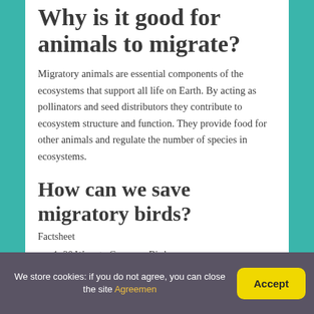Why is it good for animals to migrate?
Migratory animals are essential components of the ecosystems that support all life on Earth. By acting as pollinators and seed distributors they contribute to ecosystem structure and function. They provide food for other animals and regulate the number of species in ecosystems.
How can we save migratory birds?
Factsheet
1. 20 Ways to Conserve Birds.
We store cookies: if you do not agree, you can close the site Agreemen